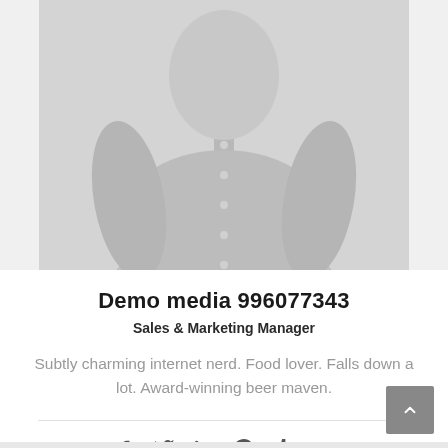[Figure (photo): Profile photo of a person wearing a button-up shirt, shown from shoulders up, grayscale/muted tones]
Demo media 996077343
Sales & Marketing Manager
Subtly charming internet nerd. Food lover. Falls down a lot. Award-winning beer maven.
[Figure (infographic): Social media icons row: Facebook, Twitter, LinkedIn, Pinterest, Tumblr, Email]